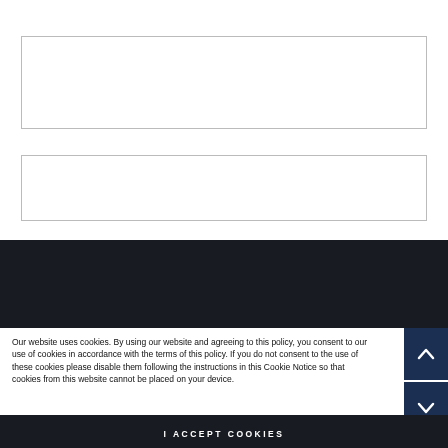[Figure (screenshot): Empty input/text box 1 with thin border]
[Figure (screenshot): Empty input/text box 2 with thin border]
[Figure (screenshot): Dark navy/black banner bar]
Our website uses cookies. By using our website and agreeing to this policy, you consent to our use of cookies in accordance with the terms of this policy. If you do not consent to the use of these cookies please disable them following the instructions in this Cookie Notice so that cookies from this website cannot be placed on your device.
I ACCEPT COOKIES